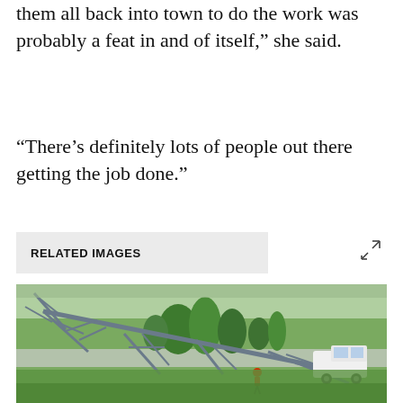them all back into town to do the work was probably a feat in and of itself,” she said.
“There’s definitely lots of people out there getting the job done.”
RELATED IMAGES
[Figure (photo): Aerial view of a downed electrical transmission tower collapsed across a road in a green rural landscape. A white pickup truck is parked near the fallen structure. A worker in red is visible near the base of the fallen tower. Trees and fields are visible in the background.]